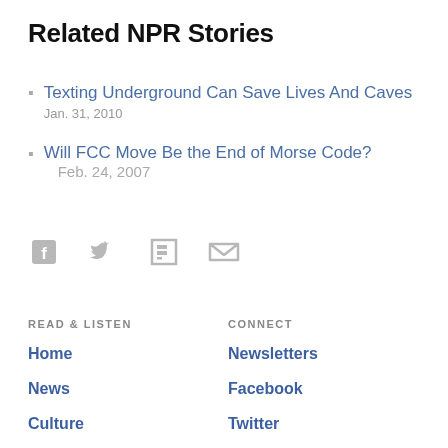Related NPR Stories
Texting Underground Can Save Lives And Caves
Jan. 31, 2010
Will FCC Move Be the End of Morse Code?   Feb. 24, 2007
[Figure (infographic): Social sharing icons: Facebook, Twitter, Flipboard, Email]
READ & LISTEN
CONNECT
Home
Newsletters
News
Facebook
Culture
Twitter
Music
Instagram
Podcasts & Shows
Press